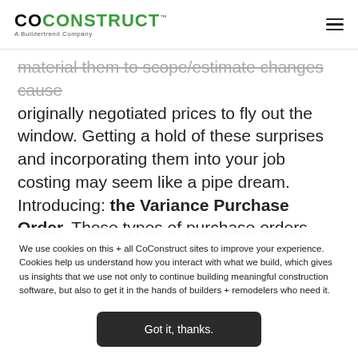COCONSTRUCT – A Buildertrend Company
material them to scope/estimate changes cause originally negotiated prices to fly out the window. Getting a hold of these surprises and incorporating them into your job costing may seem like a pipe dream. Introducing: the Variance Purchase Order. These types of purchase orders provide a great
We use cookies on this + all CoConstruct sites to improve your experience. Cookies help us understand how you interact with what we build, which gives us insights that we use not only to continue building meaningful construction software, but also to get it in the hands of builders + remodelers who need it.
Got it, thanks.